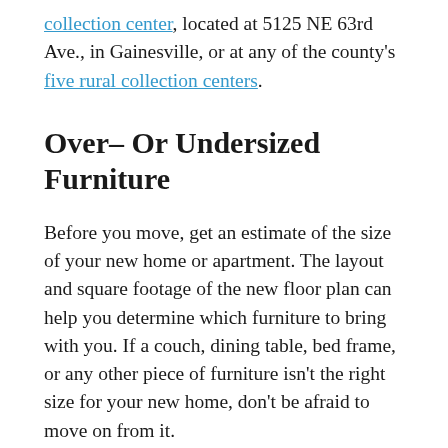collection center, located at 5125 NE 63rd Ave., in Gainesville, or at any of the county's five rural collection centers.
Over– Or Undersized Furniture
Before you move, get an estimate of the size of your new home or apartment. The layout and square footage of the new floor plan can help you determine which furniture to bring with you. If a couch, dining table, bed frame, or any other piece of furniture isn't the right size for your new home, don't be afraid to move on from it.